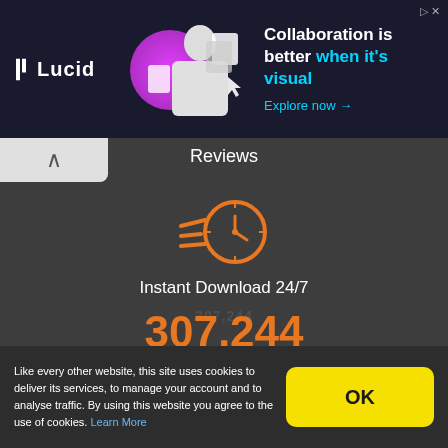[Figure (infographic): Lucid ad banner with dark navy background, Lucid logo on left, woman image center, text 'Collaboration is better when it's visual' and 'Explore now →' on right]
Reviews
[Figure (infographic): Orange fast clock icon (speedometer-style clock with motion lines)]
Instant Download 24/7
307,244
Members
[Figure (infographic): Orange badge/seal icon with checkmark]
10+ Years of Service
Like every other website, this site uses cookies to deliver its services, to manage your account and to analyse traffic. By using this website you agree to the use of cookies. Learn More